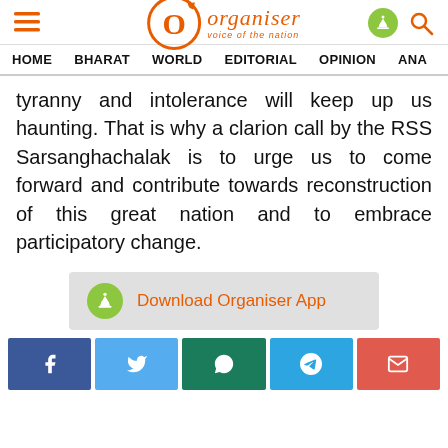Organiser – voice of the nation
HOME  BHARAT  WORLD  EDITORIAL  OPINION  ANA…
tyranny and intolerance will keep up us haunting. That is why a clarion call by the RSS Sarsanghachalak is to urge us to come forward and contribute towards reconstruction of this great nation and to embrace participatory change.
[Figure (other): Download Organiser App button with Android icon]
[Figure (other): Social share buttons: Facebook, Twitter, WhatsApp, Telegram, Email]